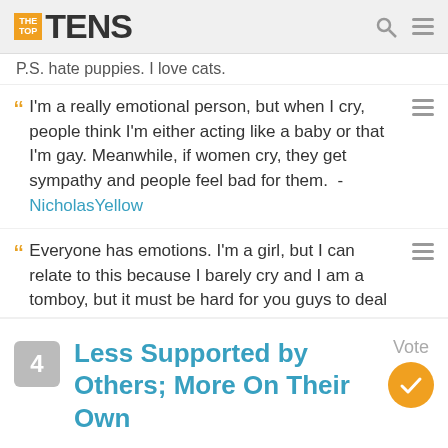THE TOP TENS
P.S. hate puppies. I love cats.
I'm a really emotional person, but when I cry, people think I'm either acting like a baby or that I'm gay. Meanwhile, if women cry, they get sympathy and people feel bad for them. - NicholasYellow
Everyone has emotions. I'm a girl, but I can relate to this because I barely cry and I am a tomboy, but it must be hard for you guys to deal with this
+ 5 Comments
4 Less Supported by Others; More On Their Own